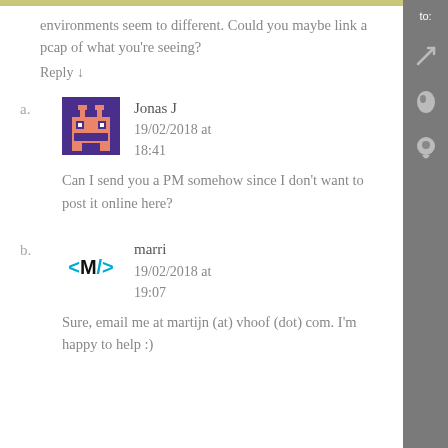environments seem to different. Could you maybe link a pcap of what you're seeing?
Reply ↓
Jonas J
19/02/2018 at 18:41
Can I send you a PM somehow since I don't want to post it online here?
marri
19/02/2018 at 19:07
Sure, email me at martijn (at) vhoof (dot) com. I'm happy to help :)